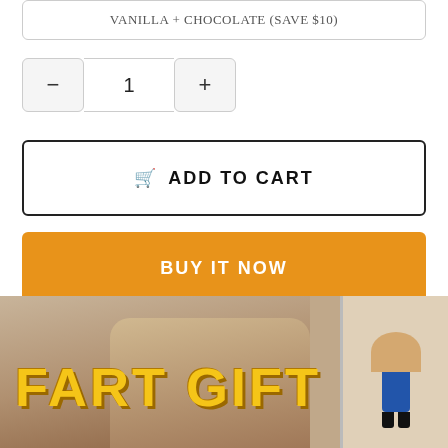VANILLA + CHOCOLATE (SAVE $10)
1
ADD TO CART
BUY IT NOW
🔗It's a perfect gift for your girl in NEW YEAR and ANY other OCCASIONS! (Birthday, anniversary...)
Especially for the next coming Christmas&Valentine's Day 🎁!!!
[Figure (photo): Product promotional image showing two people and a fart gift toy, with large yellow text 'FART GIFT' overlaid, and a small product image in the right corner.]